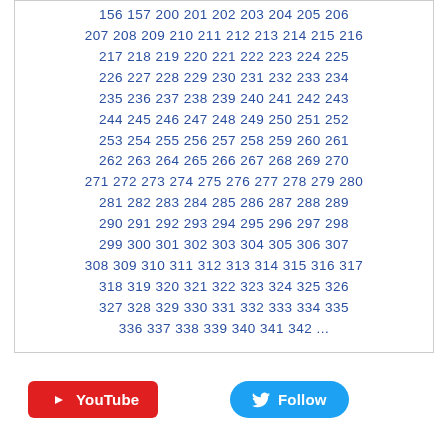156 157 200 201 202 203 204 205 206 207 208 209 210 211 212 213 214 215 216 217 218 219 220 221 222 223 224 225 226 227 228 229 230 231 232 233 234 235 236 237 238 239 240 241 242 243 244 245 246 247 248 249 250 251 252 253 254 255 256 257 258 259 260 261 262 263 264 265 266 267 268 269 270 271 272 273 274 275 276 277 278 279 280 281 282 283 284 285 286 287 288 289 290 291 292 293 294 295 296 297 298 299 300 301 302 303 304 305 306 307 308 309 310 311 312 313 314 315 316 317 318 319 320 321 322 323 324 325 326 327 328 329 330 331 332 333 334 335 336 337 338 339 340 341 342 ...
[Figure (other): YouTube button (red) and Twitter Follow button (blue) side by side]